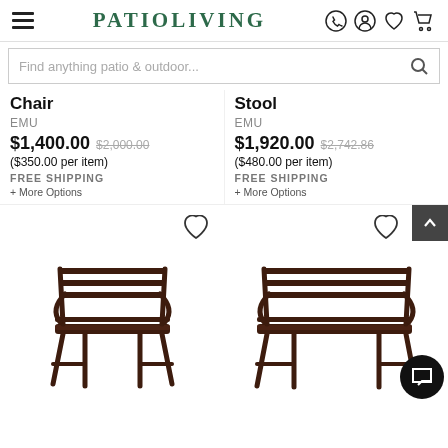PATIOLIVING
Find anything patio & outdoor...
Chair
EMU
$1,400.00  $2,000.00
($350.00 per item)
FREE SHIPPING
+ More Options
Stool
EMU
$1,920.00  $2,742.86
($480.00 per item)
FREE SHIPPING
+ More Options
[Figure (photo): Dark brown metal outdoor lounge chair with slatted back and seat]
[Figure (photo): Dark brown metal outdoor bench/stool with slatted back and seat]